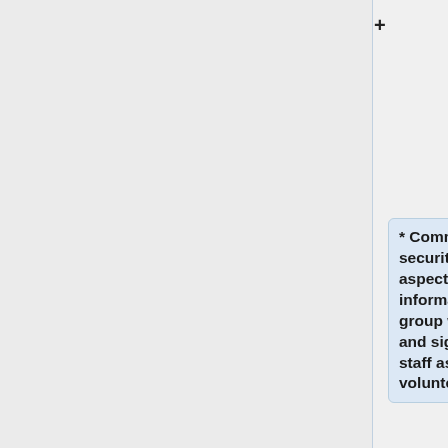how they work, what different type they are (Fire/Evacuate)
* Communicate results of security work to various aspects (web - for information, accessibility, group working with booklet and signs for the venue, staff aspect - to inform volunteers)
== Resources ==
*